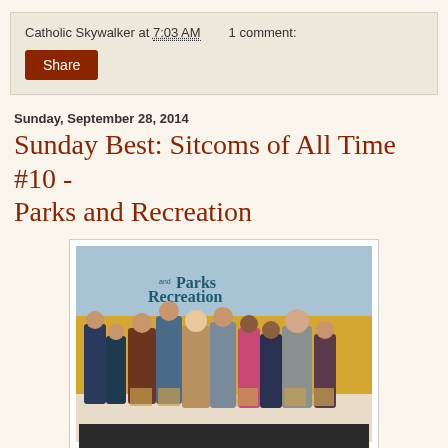Catholic Skywalker at 7:03 AM    1 comment:
Share
Sunday, September 28, 2014
Sunday Best: Sitcoms of All Time #10 - Parks and Recreation
[Figure (photo): Cast photo of Parks and Recreation TV show, with group of actors posed in front of a sunflower field backdrop with the Parks and Recreation logo]
[Figure (photo): Partial dark/black bar at bottom of page, beginning of another image]